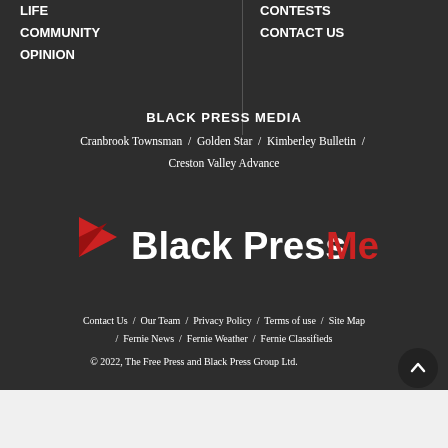LIFE
COMMUNITY
OPINION
CONTESTS
CONTACT US
BLACK PRESS MEDIA
Cranbrook Townsman / Golden Star / Kimberley Bulletin / Creston Valley Advance
[Figure (logo): Black Press Media logo with red arrow/flag icon, white 'Black Press' text and red 'Media' text]
Contact Us / Our Team / Privacy Policy / Terms of use / Site Map / Fernie News / Fernie Weather / Fernie Classifieds
© 2022, The Free Press and Black Press Group Ltd.